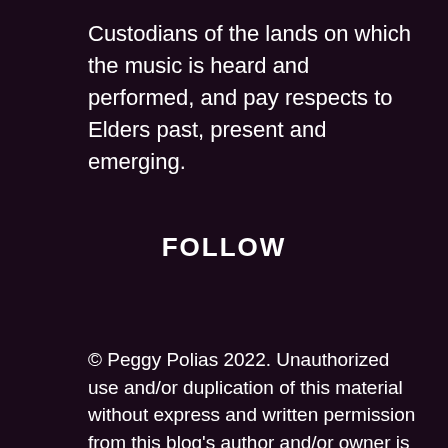Custodians of the lands on which the music is heard and performed, and pay respects to Elders past, present and emerging.
FOLLOW
© Peggy Polias 2022. Unauthorized use and/or duplication of this material without express and written permission from this blog's author and/or owner is strictly prohibited. Excerpts and links may be used, provided that full and clear credit is given to Peggy Polias and www.peggypolias.com with